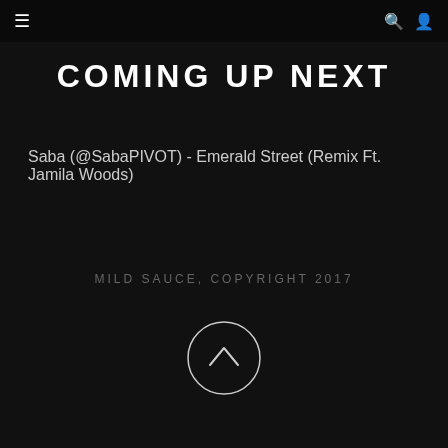≡   🔍 👤
COMING UP NEXT
Saba (@SabaPIVOT) - Emerald Street (Remix Ft. Jamila Woods)
MILD SAUCE, COPYRIGHT 2017
[Figure (illustration): Circle with upward chevron arrow inside, used as a scroll-to-top button]